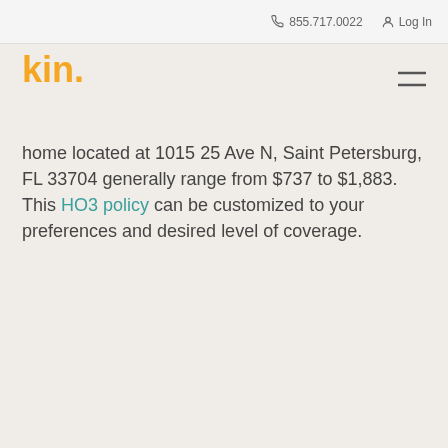855.717.0022  Log In
[Figure (logo): Kin Insurance logo — 'kin.' in bold orange/yellow text]
home located at 1015 25 Ave N, Saint Petersburg, FL 33704 generally range from $737 to $1,883. This HO3 policy can be customized to your preferences and desired level of coverage.
Get a Custom Quote